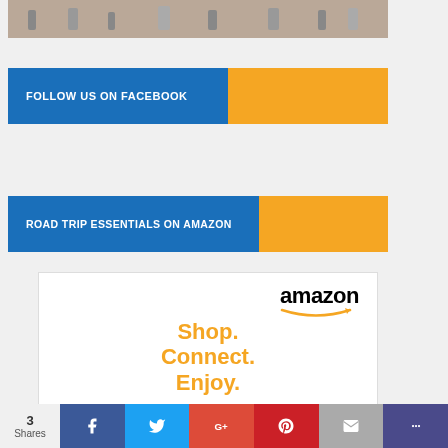[Figure (photo): Partial photo of people sitting in outdoor folding chairs, likely at a sporting event or outdoor gathering]
[Figure (infographic): Blue and orange banner reading FOLLOW US ON FACEBOOK]
[Figure (infographic): Blue and orange banner reading ROAD TRIP ESSENTIALS ON AMAZON]
[Figure (infographic): Amazon advertisement box with amazon logo, smile arrow, and text: Shop. Connect. Enjoy.]
[Figure (infographic): Social media share bar at bottom with Facebook, Twitter, Google+, Pinterest, email, and other share icons. Shows 3 Shares.]